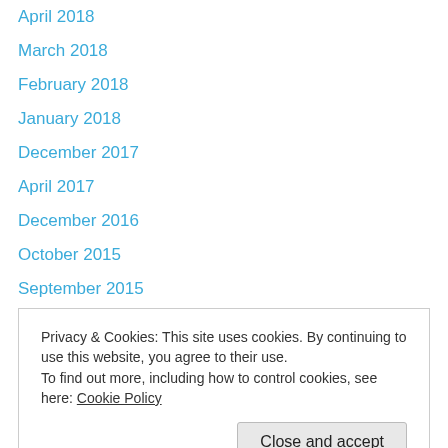April 2018
March 2018
February 2018
January 2018
December 2017
April 2017
December 2016
October 2015
September 2015
July 2015
June 2015
April 2015
March 2015
Privacy & Cookies: This site uses cookies. By continuing to use this website, you agree to their use.
To find out more, including how to control cookies, see here: Cookie Policy
Close and accept
July 2014